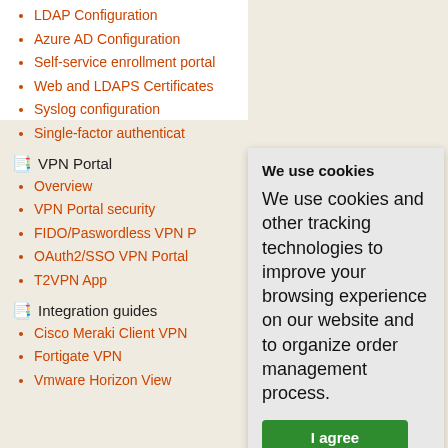LDAP Configuration
Azure AD Configuration
Self-service enrollment portal
Web and LDAPS Certificates
Syslog configuration
Single-factor authenticat
VPN Portal
Overview
VPN Portal security
FIDO/Paswordless VPN P
OAuth2/SSO VPN Portal
T2VPN App
Integration guides
Cisco Meraki Client VPN
Fortigate VPN
Vmware Horizon View
We use cookies
We use cookies and other tracking technologies to improve your browsing experience on our website and to organize order management process.
I agree
Change preferences